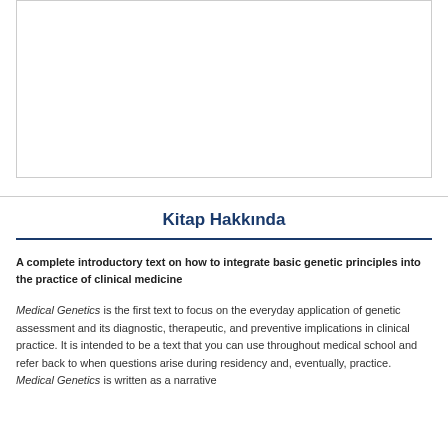[Figure (other): Blank white image placeholder with border]
Kitap Hakkında
A complete introductory text on how to integrate basic genetic principles into the practice of clinical medicine
Medical Genetics is the first text to focus on the everyday application of genetic assessment and its diagnostic, therapeutic, and preventive implications in clinical practice. It is intended to be a text that you can use throughout medical school and refer back to when questions arise during residency and, eventually, practice. Medical Genetics is written as a narrative